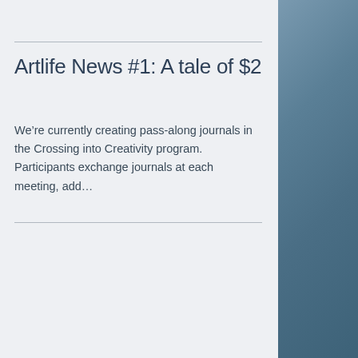Artlife News #1: A tale of $2
We’re currently creating pass-along journals in the Crossing into Creativity program. Participants exchange journals at each meeting, add…
[Figure (photo): A deer or elk standing in a snowy field with dry grass and a tree trunk visible in a winter outdoor scene.]